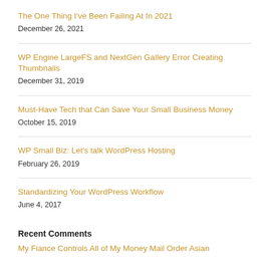The One Thing I've Been Failing At In 2021
December 26, 2021
WP Engine LargeFS and NextGen Gallery Error Creating Thumbnails
December 31, 2019
Must-Have Tech that Can Save Your Small Business Money
October 15, 2019
WP Small Biz: Let's talk WordPress Hosting
February 26, 2019
Standardizing Your WordPress Workflow
June 4, 2017
Recent Comments
My Fiance Controls All of My Money Mail Order Asian